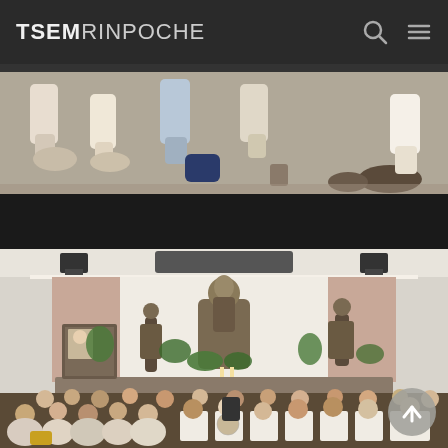TSEM RINPOCHE
[Figure (photo): Cropped photo showing feet and lower bodies of people seated on a floor, appearing to be at a Buddhist gathering or ceremony]
[Figure (photo): Buddhist temple or shrine hall interior with people seated on the floor facing an altar with Buddhist statues including a central Buddha figure and two flanking deity statues, with floral offerings and decorations]